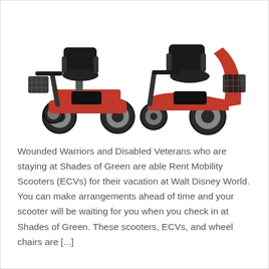[Figure (photo): Two red mobility scooters (ECVs) side by side on a white background. The left scooter faces right with a front basket and four wheels. The right scooter faces left with a rear basket and three wheels.]
Wounded Warriors and Disabled Veterans who are staying at Shades of Green are able Rent Mobility Scooters (ECVs) for their vacation at Walt Disney World. You can make arrangements ahead of time and your scooter will be waiting for you when you check in at Shades of Green. These scooters, ECVs, and wheel chairs are [...]